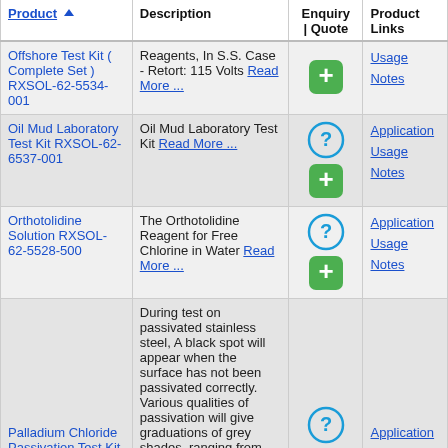| Product | Description | Enquiry | Quote | Product Links |
| --- | --- | --- | --- |
| Offshore Test Kit ( Complete Set ) RXSOL-62-5534-001 | Reagents, In S.S. Case - Retort: 115 Volts Read More ... | [+ button] | Usage Notes |
| Oil Mud Laboratory Test Kit RXSOL-62-6537-001 | Oil Mud Laboratory Test Kit Read More ... | [? button][+ button] | Application Usage Notes |
| Orthotolidine Solution RXSOL-62-5528-500 | The Orthotolidine Reagent for Free Chlorine in Water Read More ... | [? button][+ button] | Application Usage Notes |
| Palladium Chloride Passivation Test Kit RXSOL-62-5522-025 | During test on passivated stainless steel, A black spot will appear when the surface has not been passivated correctly. Various qualities of passivation will give graduations of grey shades, ranging from light (acceptable) to dark | [? button][+ button] | Application Usage Notes |